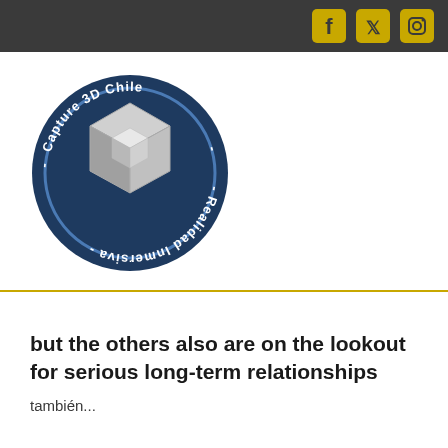Social media icons: Facebook, Twitter, Instagram
[Figure (logo): Circular logo for Capture 3D Chile - Realidad Inmersiva, dark blue background with 3D cube illustration in center]
but the others also are on the lookout for serious long-term relationships
...